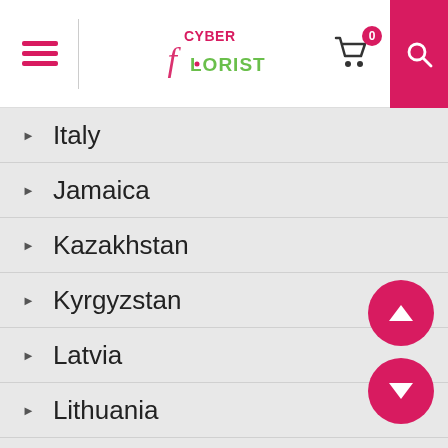Cyber Florist — navigation header with hamburger menu, logo, cart (0), and search
Italy
Jamaica
Kazakhstan
Kyrgyzstan
Latvia
Lithuania
Malaysia
Mauritius
Mexico
Moldova
Myanmar
Namibia
Netherlands
New Zealand
Norway
Papua New Guinea